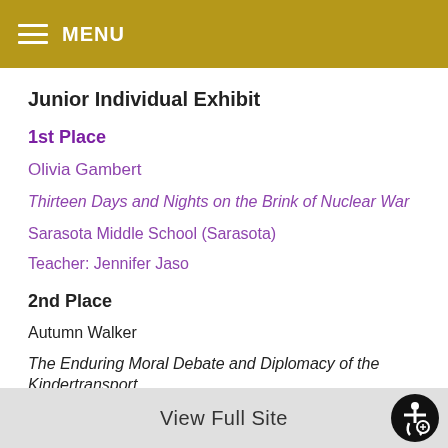MENU
Junior Individual Exhibit
1st Place
Olivia Gambert
Thirteen Days and Nights on the Brink of Nuclear War
Sarasota Middle School (Sarasota)
Teacher: Jennifer Jaso
2nd Place
Autumn Walker
The Enduring Moral Debate and Diplomacy of the Kindertransport
View Full Site